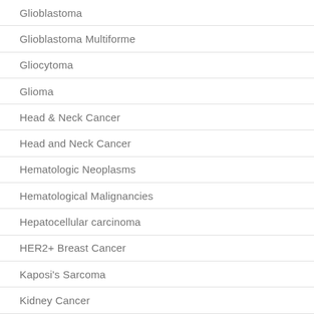Glioblastoma
Glioblastoma Multiforme
Gliocytoma
Glioma
Head & Neck Cancer
Head and Neck Cancer
Hematologic Neoplasms
Hematological Malignancies
Hepatocellular carcinoma
HER2+ Breast Cancer
Kaposi's Sarcoma
Kidney Cancer